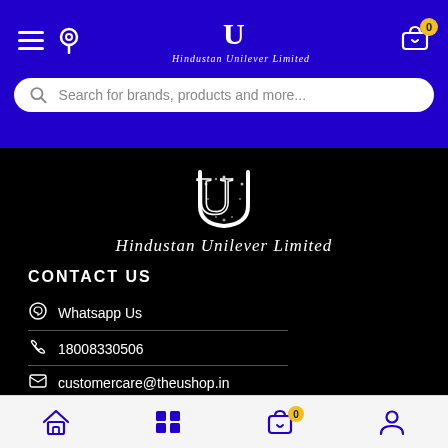[Figure (screenshot): Hindustan Unilever Limited mobile website header with blue navigation bar, hamburger menu, location pin, HUL logo, cart icon with badge 0, and search bar]
[Figure (logo): Hindustan Unilever Limited ornate U logo in white on black background with text 'Hindustan Unilever Limited' below]
CONTACT US
Whatsapp Us
18008330506
customercare@theushop.in
Days - Monday – Saturday
[Figure (screenshot): Add to Bag yellow button]
Bottom navigation bar with Home, Grid, Cart (badge 0), and Profile icons